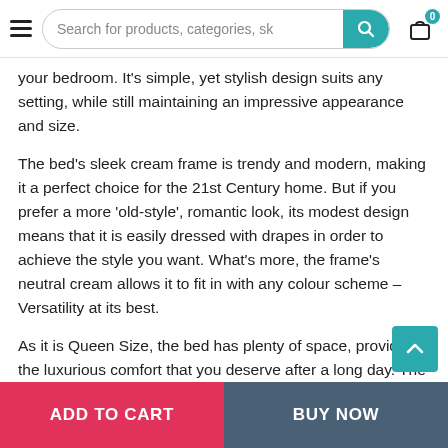Search for products, categories, sk
your bedroom. It’s simple, yet stylish design suits any setting, while still maintaining an impressive appearance and size.
The bed’s sleek cream frame is trendy and modern, making it a perfect choice for the 21st Century home. But if you prefer a more ‘old-style’, romantic look, its modest design means that it is easily dressed with drapes in order to achieve the style you want. What’s more, the frame’s neutral cream allows it to fit in with any colour scheme – Versatility at its best.
As it is Queen Size, the bed has plenty of space, providing the luxurious comfort that you deserve after a long day. The bed’s fifteen wooden slats provide flawless support for a Queen mattress, without the need for any additional foundation.
It is also an ideal choice for those who want a sturdy four-poster…
ADD TO CART   BUY NOW